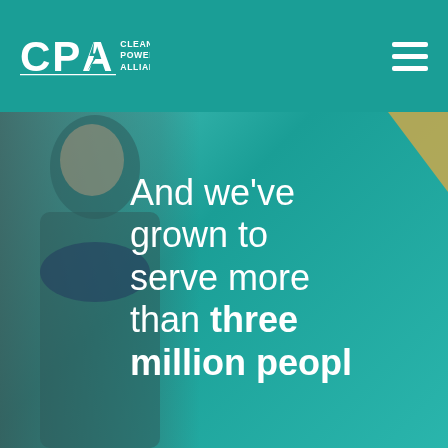[Figure (logo): Clean Power Alliance (CPA) logo in white on teal header bar with hamburger menu icon on the right]
[Figure (photo): Hero image showing a person (left side, blurred) overlaid on a teal background with white text reading 'And we've grown to serve more than three million peopl' (text cut off at right edge). A gold geometric accent is visible in the top-right corner.]